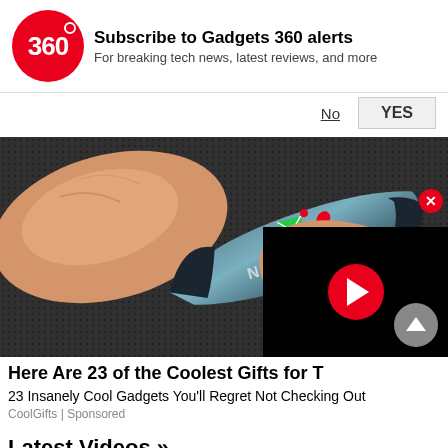[Figure (screenshot): Gadgets 360 subscription notification banner with red circular logo showing '360', bold text 'Subscribe to Gadgets 360 alerts', subtext 'For breaking tech news, latest reviews, and more', with 'No' and 'YES' buttons]
[Figure (photo): Close-up photo of a Nokia smart ring device being worn on a finger, showing message and call icons on a metallic surface with NOKIA and FIT branding, overlaid with a YouTube-style video player (black background, red play button circle), a red close X button, and a grey scroll-up arrow button]
Here Are 23 of the Coolest Gifts for T
23 Insanely Cool Gadgets You'll Regret Not Checking Out
CoolGifts | Sponsored
Latest Videos »